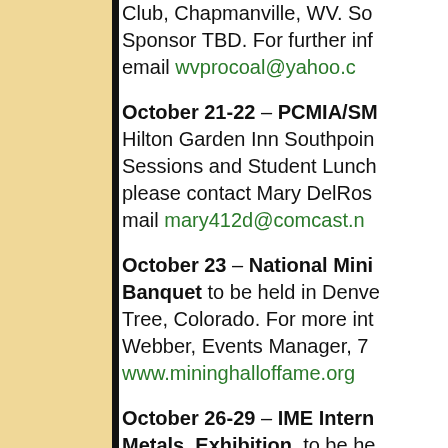Club, Chapmanville, WV. So Sponsor TBD. For further inf email wvprocoal@yahoo.c
October 21-22 – PCMIA/SM Hilton Garden Inn Southpoin Sessions and Student Lunch please contact Mary DelRos mail mary412d@comcast.n
October 23 – National Mini Banquet to be held in Denve Tree, Colorado. For more int Webber, Events Manager, 7 www.mininghalloffame.org
October 26-29 – IME Intern Metals, Exhibition, to be he visit www.miningexpoindia